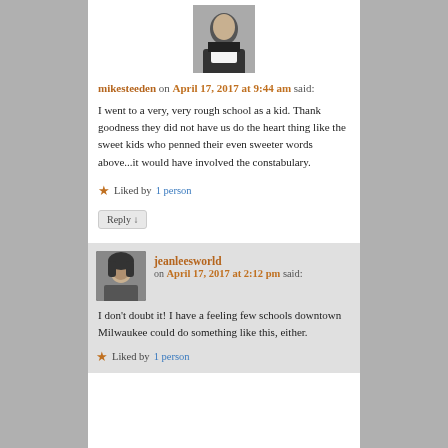[Figure (photo): Profile photo of miksteeden, a person in dark clothing with light background]
mikesteeden on April 17, 2017 at 9:44 am said:
I went to a very, very rough school as a kid. Thank goodness they did not have us do the heart thing like the sweet kids who penned their even sweeter words above...it would have involved the constabulary.
Liked by 1 person
Reply ↓
[Figure (photo): Profile photo of jeanleesworld, a person with dark hair covering face]
jeanleesworld on April 17, 2017 at 2:12 pm said:
I don't doubt it! I have a feeling few schools downtown Milwaukee could do something like this, either.
Liked by 1 person